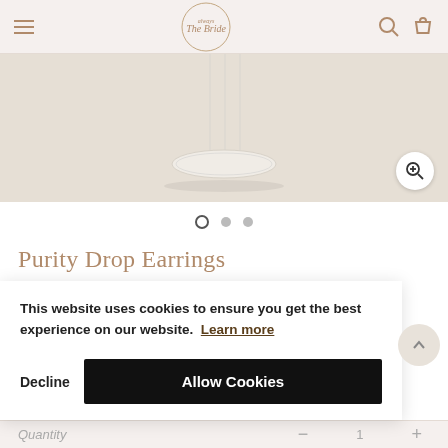Always The Bride — navigation header with hamburger menu, logo, search, and bag icons
[Figure (photo): Product photo of Purity Drop Earrings — clear/glass drop earring on a neutral beige surface, with a zoom-in button overlay]
● ● ●  (image carousel dots — first active)
Purity Drop Earrings
£52.00
This website uses cookies to ensure you get the best experience on our website. Learn more
Decline   Allow Cookies
Quantity  —  1  +